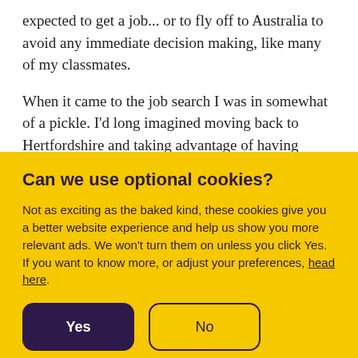expected to get a job... or to fly off to Australia to avoid any immediate decision making, like many of my classmates.
When it came to the job search I was in somewhat of a pickle. I'd long imagined moving back to Hertfordshire and taking advantage of having London on my doorstep. I always envisioned there would be more...
Can we use optional cookies?
Not as exciting as the baked kind, these cookies give you a better website experience and help us show you more relevant ads. We won't turn them on unless you click Yes. If you want to know more, or adjust your preferences, head here.
Yes
No